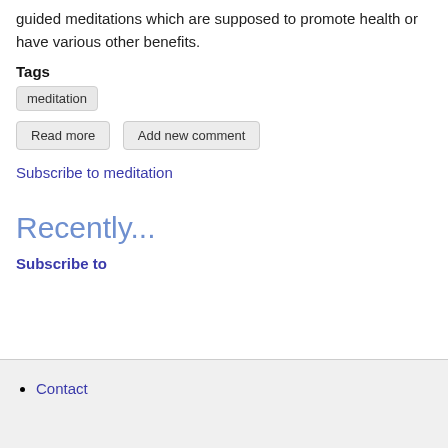guided meditations which are supposed to promote health or have various other benefits.
Tags
meditation
Read more   Add new comment
Subscribe to meditation
Recently...
Subscribe to
Contact